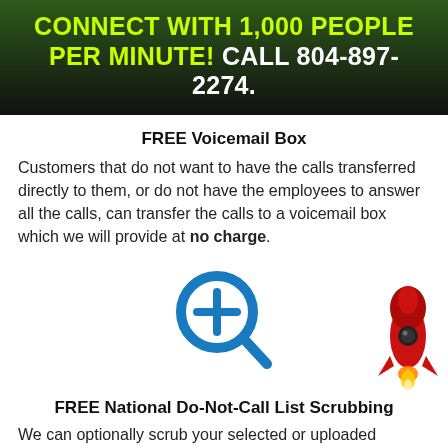CONNECT WITH 1,000 PEOPLE PER MINUTE! CALL 804-897-2274.
FREE Voicemail Box
Customers that do not want to have the calls transferred directly to them, or do not have the employees to answer all the calls, can transfer the calls to a voicemail box which we will provide at no charge.
[Figure (illustration): A blue magnifying glass icon with a plus sign inside the lens, representing search or add functionality. A red rocket ship illustration in the bottom-right corner.]
FREE National Do-Not-Call List Scrubbing
We can optionally scrub your selected or uploaded database against the Federal Trade Commission's 'National Do-Not-Call List' Database FREE of